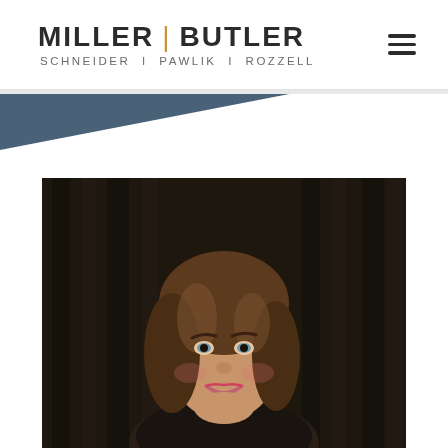MILLER | BUTLER SCHNEIDER | PAWLIK | ROZZELL
[Figure (other): Decorative dark blue/slate triangular banner strip below the header navigation area]
[Figure (photo): Professional headshot of a young woman with brown hair, smiling, wearing a dark outfit, photographed against a dark blurred background of bookshelves]